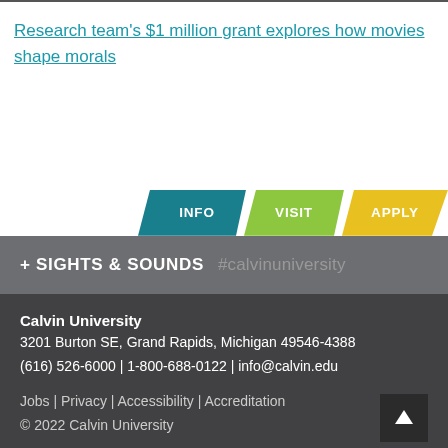Research team's $1 million grant explores how movies shape morals
[Figure (infographic): INFO, VISIT, APPLY call-to-action buttons bar in teal, green, and yellow]
+ SIGHTS & SOUNDS #calvinuniversity
Calvin University
3201 Burton SE, Grand Rapids, Michigan 49546-4388
(616) 526-6000 | 1-800-688-0122 | info@calvin.edu
Jobs | Privacy | Accessibility | Accreditation
© 2022 Calvin University